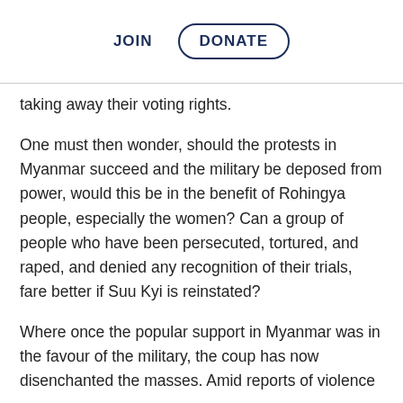JOIN   DONATE
…ppg… taking away their voting rights.
One must then wonder, should the protests in Myanmar succeed and the military be deposed from power, would this be in the benefit of Rohingya people, especially the women? Can a group of people who have been persecuted, tortured, and raped, and denied any recognition of their trials, fare better if Suu Kyi is reinstated?
Where once the popular support in Myanmar was in the favour of the military, the coup has now disenchanted the masses. Amid reports of violence